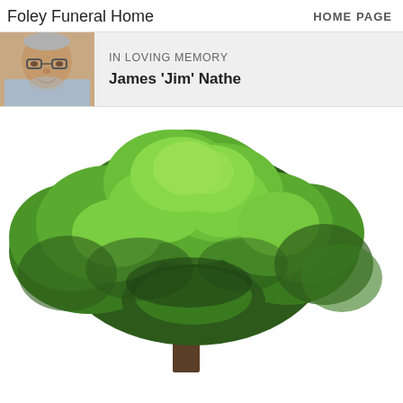Foley Funeral Home
HOME PAGE
IN LOVING MEMORY
James 'Jim' Nathe
[Figure (photo): Portrait photo of James 'Jim' Nathe, an older man with glasses and a gray beard, wearing a light blue shirt]
[Figure (photo): A large deciduous tree with full green foliage on a white background, trunk visible at center bottom]